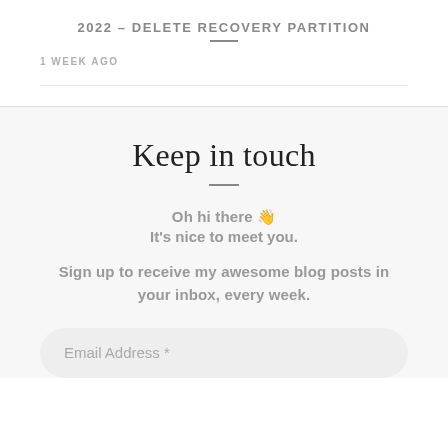2022 – DELETE RECOVERY PARTITION
1 WEEK AGO
Keep in touch
Oh hi there 👋
It's nice to meet you.
Sign up to receive my awesome blog posts in your inbox, every week.
Email Address *